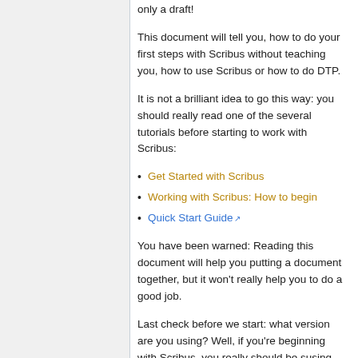only a draft!
This document will tell you, how to do your first steps with Scribus without teaching you, how to use Scribus or how to do DTP.
It is not a brilliant idea to go this way: you should really read one of the several tutorials before starting to work with Scribus:
Get Started with Scribus
Working with Scribus: How to begin
Quick Start Guide
You have been warned: Reading this document will help you putting a document together, but it won't really help you to do a good job.
Last check before we start: what version are you using? Well, if you're beginning with Scribus, you really should be susing